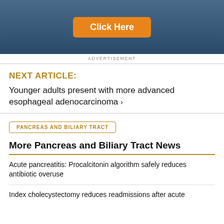[Figure (screenshot): Advertisement banner with dark blue gradient background and orange 'Click Here' button]
ADVERTISEMENT
NEXT ARTICLE:
Younger adults present with more advanced esophageal adenocarcinoma ›
PANCREAS AND BILIARY TRACT
More Pancreas and Biliary Tract News
Acute pancreatitis: Procalcitonin algorithm safely reduces antibiotic overuse
Index cholecystectomy reduces readmissions after acute